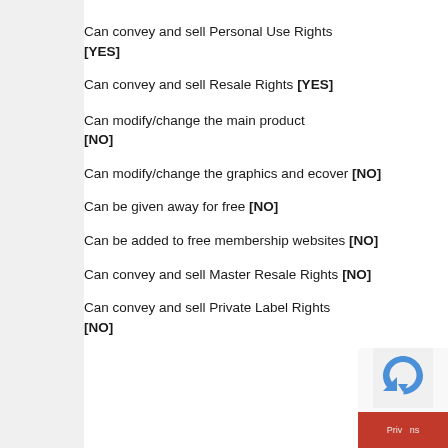Can convey and sell Personal Use Rights [YES]
Can convey and sell Resale Rights [YES]
Can modify/change the main product [NO]
Can modify/change the graphics and ecover [NO]
Can be given away for free [NO]
Can be added to free membership websites [NO]
Can convey and sell Master Resale Rights [NO]
Can convey and sell Private Label Rights [NO]